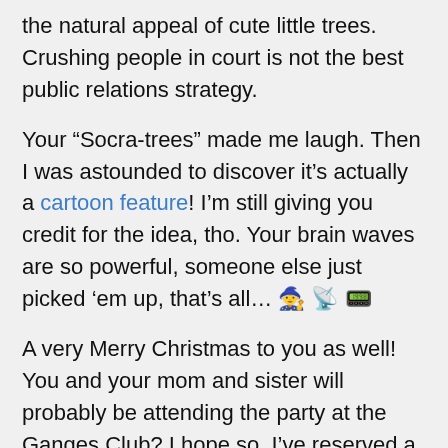the natural appeal of cute little trees. Crushing people in court is not the best public relations strategy.
Your “Socra-trees” made me laugh. Then I was astounded to discover it’s actually a cartoon feature! I’m still giving you credit for the idea, tho. Your brain waves are so powerful, someone else just picked ‘em up, that’s all… 🧙 📡 📟
A very Merry Christmas to you as well! You and your mom and sister will probably be attending the party at the Ganges Club? I hope so. I’ve reserved a table for you, and instructed the chef to prepare Ragi biscuits, Kerala plum cake, Achappan, lime